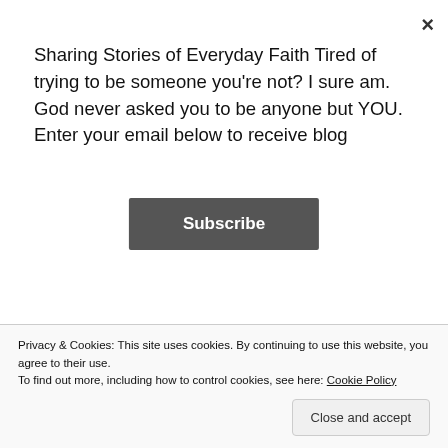Sharing Stories of Everyday Faith Tired of trying to be someone you're not? I sure am. God never asked you to be anyone but YOU. Enter your email below to receive blog
Subscribe
@harrisbriter felt called to write. In retrospect, it is as much for me and my growth as God needing any particular story of mine out in the world
@chrislmeyers It's difficult to be a writer. Rejection is the norm. So many famous writers only got published after dozens or hundreds of rejections. Dig in. Learn. Adapt. Pray. Get feedback. Persevere. 🙂 If God called you, it will make a difference. Ask God, what would You have me learn today? Today. Then I write
Privacy & Cookies: This site uses cookies. By continuing to use this website, you agree to their use.
To find out more, including how to control cookies, see here: Cookie Policy
Close and accept